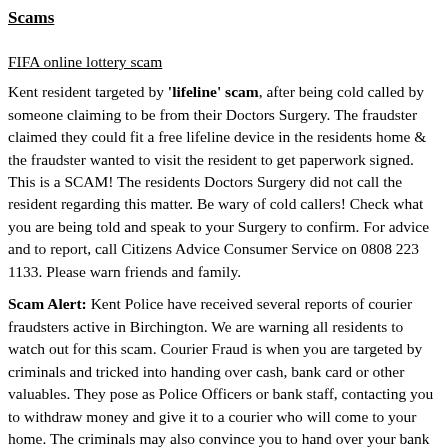Scams
FIFA online lottery scam
Kent resident targeted by 'lifeline' scam, after being cold called by someone claiming to be from their Doctors Surgery. The fraudster claimed they could fit a free lifeline device in the residents home & the fraudster wanted to visit the resident to get paperwork signed. This is a SCAM! The residents Doctors Surgery did not call the resident regarding this matter. Be wary of cold callers! Check what you are being told and speak to your Surgery to confirm. For advice and to report, call Citizens Advice Consumer Service on 0808 223 1133. Please warn friends and family.
Scam Alert: Kent Police have received several reports of courier fraudsters active in Birchington. We are warning all residents to watch out for this scam. Courier Fraud is when you are targeted by criminals and tricked into handing over cash, bank card or other valuables. They pose as Police Officers or bank staff, contacting you to withdraw money and give it to a courier who will come to your home. The criminals may also convince you to hand over your bank